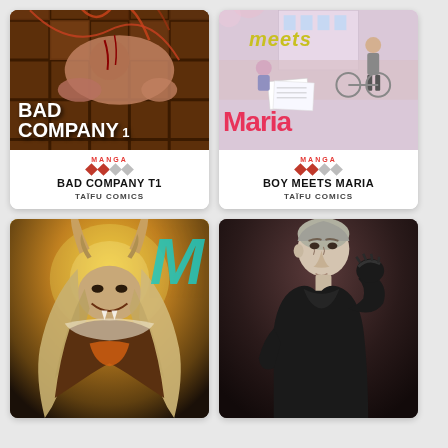[Figure (illustration): Manga book cover: BAD COMPANY T1 - dark cover showing a muscular figure with chains/ropes on a grated floor, title text in white bold letters]
MANGA
BAD COMPANY T1
TAÏFU COMICS
[Figure (illustration): Manga book cover: BOY MEETS MARIA - pastel pink/purple cover with school scene, meets in yellow italic text, Maria in large pink bold letters]
MANGA
BOY MEETS MARIA
TAÏFU COMICS
[Figure (illustration): Manga/fantasy book cover showing a horned demon/fantasy creature with long hair, teal M letter, warm golden background]
[Figure (illustration): Manga book cover showing a man dressed in black with silver/gray hair against a dark maroon background]